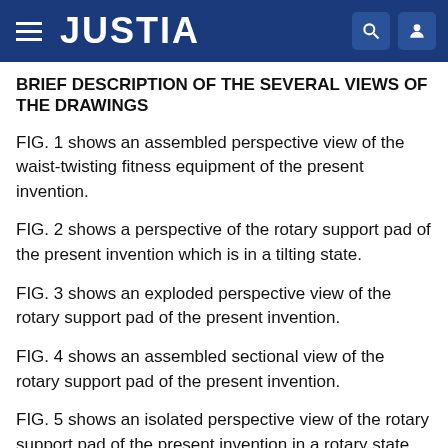JUSTIA
BRIEF DESCRIPTION OF THE SEVERAL VIEWS OF THE DRAWINGS
FIG. 1 shows an assembled perspective view of the waist-twisting fitness equipment of the present invention.
FIG. 2 shows a perspective of the rotary support pad of the present invention which is in a tilting state.
FIG. 3 shows an exploded perspective view of the rotary support pad of the present invention.
FIG. 4 shows an assembled sectional view of the rotary support pad of the present invention.
FIG. 5 shows an isolated perspective view of the rotary support pad of the present invention in a rotary state.
FIG. 6 shows an exploded perspective view of the